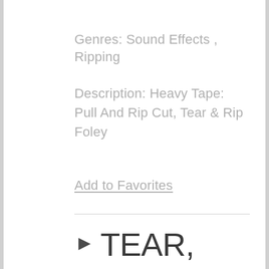Genres: Sound Effects , Ripping
Description: Heavy Tape: Pull And Rip Cut, Tear & Rip Foley
Add to Favorites
TEAR, TAPE 1
by Soundideas  |  wav  |